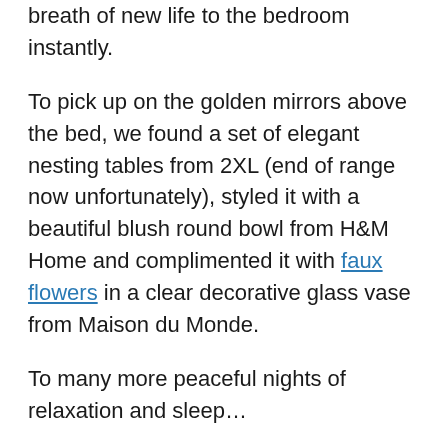breath of new life to the bedroom instantly.
To pick up on the golden mirrors above the bed, we found a set of elegant nesting tables from 2XL (end of range now unfortunately), styled it with a beautiful blush round bowl from H&M Home and complimented it with faux flowers in a clear decorative glass vase from Maison du Monde.
To many more peaceful nights of relaxation and sleep…
Are you ready for making your space look like you? Let us know how we can help! contact us here.